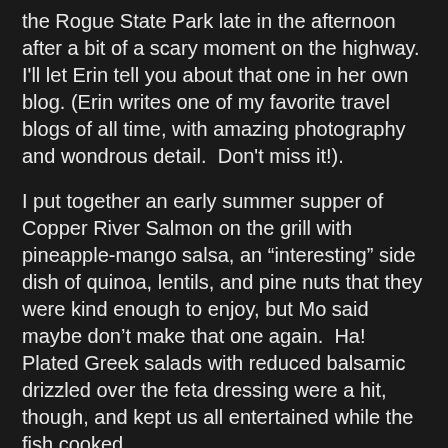the Rogue State Park late in the afternoon after a bit of a scary moment on the highway.  I'll let Erin tell you about that one in her own blog. (Erin writes one of my favorite travel blogs of all time, with amazing photography and wondrous detail.  Don't miss it!).
I put together an early summer supper of Copper River Salmon on the grill with pineapple-mango salsa, an “interesting” side dish of quinoa, lentils, and pine nuts that they were kind enough to enjoy, but Mo said maybe don’t make that one again.  Ha!  Plated Greek salads with reduced balsamic drizzled over the feta dressing were a hit, though, and kept us all entertained while the fish cooked.